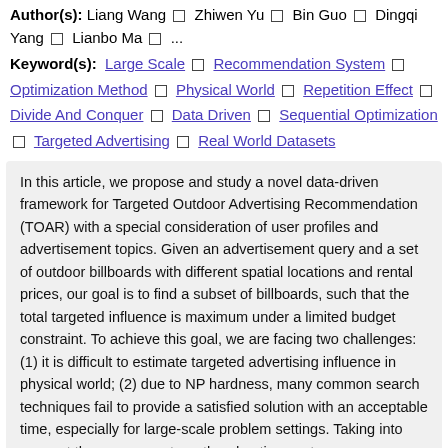Author(s): Liang Wang □ Zhiwen Yu □ Bin Guo □ Dingqi Yang □ Lianbo Ma □ ...
Keyword(s): Large Scale □ Recommendation System □ Optimization Method □ Physical World □ Repetition Effect □ Divide And Conquer □ Data Driven □ Sequential Optimization □ Targeted Advertising □ Real World Datasets
In this article, we propose and study a novel data-driven framework for Targeted Outdoor Advertising Recommendation (TOAR) with a special consideration of user profiles and advertisement topics. Given an advertisement query and a set of outdoor billboards with different spatial locations and rental prices, our goal is to find a subset of billboards, such that the total targeted influence is maximum under a limited budget constraint. To achieve this goal, we are facing two challenges: (1) it is difficult to estimate targeted advertising influence in physical world; (2) due to NP hardness, many common search techniques fail to provide a satisfied solution with an acceptable time, especially for large-scale problem settings. Taking into account the exposure strength, advertisement